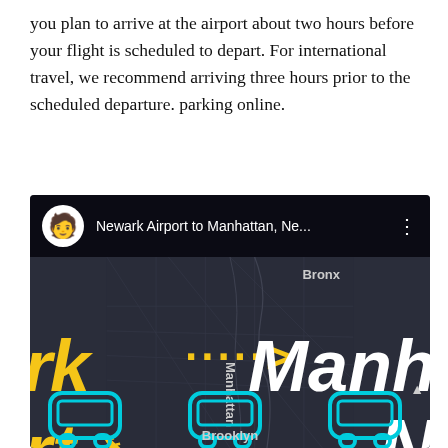you plan to arrive at the airport about two hours before your flight is scheduled to depart. For international travel, we recommend arriving three hours prior to the scheduled departure. parking online.
[Figure (screenshot): YouTube video thumbnail showing 'Newark Airport to Manhattan, Ne...' with a dark map background of the New York area, large yellow italic text 'rk' and 'rt' on the left, yellow dotted arrow pointing right, large white italic 'Manh' and 'N' on the right, a yellow airplane icon, a red YouTube play button in the center, cyan bus icons at the bottom, and map labels for Bronx, Manhattan, Queens, and Brooklyn.]